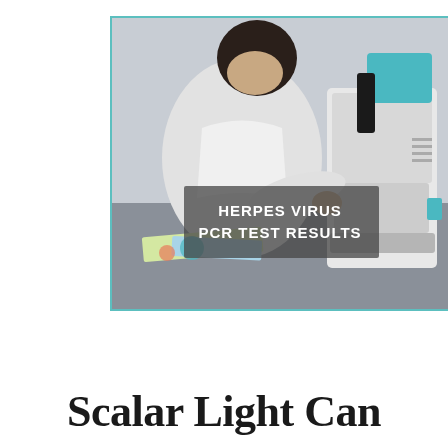[Figure (photo): A scientist or lab technician in a white lab coat looking through a microscope. The microscope has teal/cyan colored parts. A text overlay reads 'HERPES VIRUS PCR TEST RESULTS'. The image has a teal border.]
Scalar Light Can